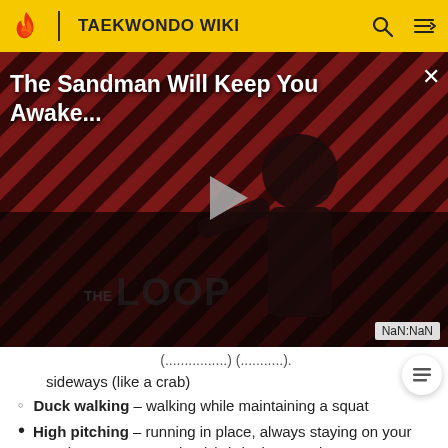TAEKWONDO WIKI
[Figure (screenshot): Video advertisement overlay showing 'The Sandman Will Keep You Awake...' with a dark-clad figure, diagonal stripe background, THE LOOP logo, play button, and NaN:NaN timestamp]
sideways (like a crab)
Duck walking – walking while maintaining a squat
High pitching – running in place, always staying on your toes (never onto your heels), bringing your knees